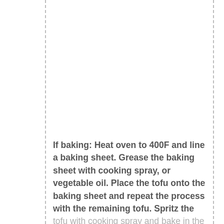If baking: Heat oven to 400F and line a baking sheet. Grease the baking sheet with cooking spray, or vegetable oil. Place the tofu onto the baking sheet and repeat the process with the remaining tofu. Spritz the tofu with cooking spray and bake in the oven for 6 minutes. Turn the tofu and bake for another 6 minutes, or breading is golden brown.